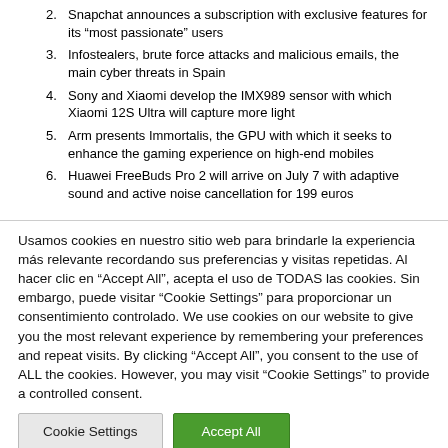2. Snapchat announces a subscription with exclusive features for its "most passionate" users
3. Infostealers, brute force attacks and malicious emails, the main cyber threats in Spain
4. Sony and Xiaomi develop the IMX989 sensor with which Xiaomi 12S Ultra will capture more light
5. Arm presents Immortalis, the GPU with which it seeks to enhance the gaming experience on high-end mobiles
6. Huawei FreeBuds Pro 2 will arrive on July 7 with adaptive sound and active noise cancellation for 199 euros
Usamos cookies en nuestro sitio web para brindarle la experiencia más relevante recordando sus preferencias y visitas repetidas. Al hacer clic en "Accept All", acepta el uso de TODAS las cookies. Sin embargo, puede visitar "Cookie Settings" para proporcionar un consentimiento controlado. We use cookies on our website to give you the most relevant experience by remembering your preferences and repeat visits. By clicking "Accept All", you consent to the use of ALL the cookies. However, you may visit "Cookie Settings" to provide a controlled consent.